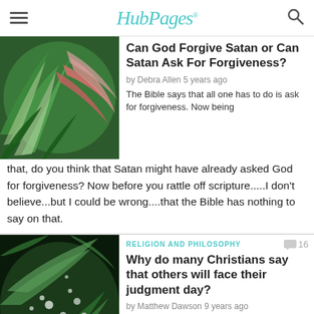HubPages
Can God Forgive Satan or Can Satan Ask For Forgiveness?
by Debra Allen 5 years ago
The Bible says that all one has to do is ask for forgiveness.  Now being that, do you think that Satan might have already asked God for forgiveness?  Now before you rattle off scripture.....I don't believe...but I could be wrong....that the Bible has nothing to say on that.
RELIGION AND PHILOSOPHY
Why do many Christians say that others will face their judgment day?
by Matthew Dawson 9 years ago
Why do many Christians say that